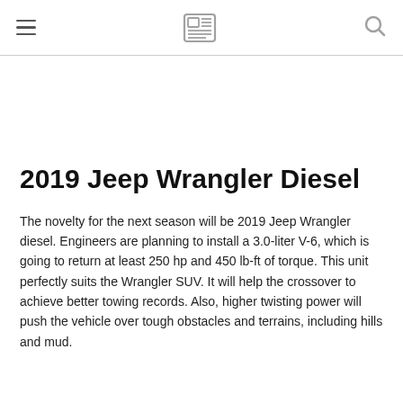newspaper logo icon
2019 Jeep Wrangler Diesel
The novelty for the next season will be 2019 Jeep Wrangler diesel. Engineers are planning to install a 3.0-liter V-6, which is going to return at least 250 hp and 450 lb-ft of torque. This unit perfectly suits the Wrangler SUV. It will help the crossover to achieve better towing records. Also, higher twisting power will push the vehicle over tough obstacles and terrains, including hills and mud.